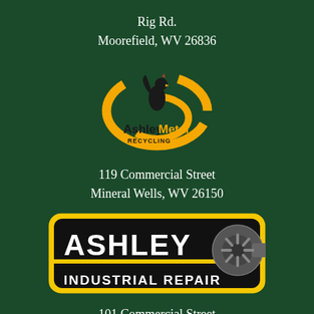Rig Rd.
Moorefield, WV 26836
[Figure (logo): Ashley Metal Recycling logo with orange swirl and rooster figure, text 'Ashley Metal RECYCLING']
119 Commercial Street
Mineral Wells, WV 26150
[Figure (logo): Ashley Industrial Repair logo: black rounded rectangle with yellow border, bold white text 'ASHLEY' and 'INDUSTRIAL REPAIR', turbocharger graphic on right]
101 Commercial Street
Mineral Wells, WV 26150